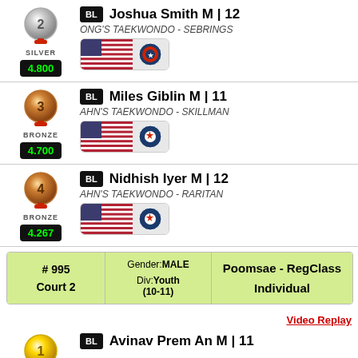2nd Place SILVER - Joshua Smith M | 12 - ONG'S TAEKWONDO - SEBRINGS - Score: 4.800
3rd Place BRONZE - Miles Giblin M | 11 - AHN'S TAEKWONDO - SKILLMAN - Score: 4.700
4th Place BRONZE - Nidhish Iyer M | 12 - AHN'S TAEKWONDO - RARITAN - Score: 4.267
| # 995 Court 2 | Gender: MALE Div: Youth (10-11) | Poomsae - RegClass Individual |
| --- | --- | --- |
Video Replay
1st Place GOLD - Avinav Prem An M | 11